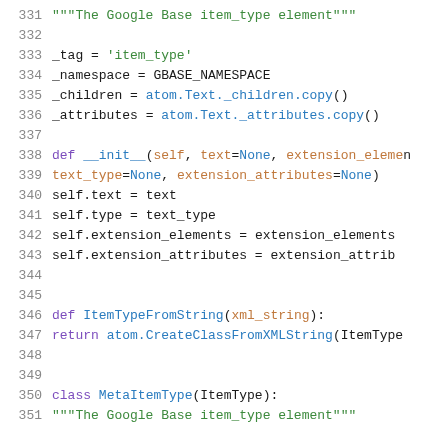331  """The Google Base item_type element"""
332  
333      _tag = 'item_type'
334      _namespace = GBASE_NAMESPACE
335      _children = atom.Text._children.copy()
336      _attributes = atom.Text._attributes.copy()
337  
338      def __init__(self, text=None, extension_elements
339          text_type=None, extension_attributes=None
340          self.text = text
341          self.type = text_type
342          self.extension_elements = extension_elements
343          self.extension_attributes = extension_attrib
344  
345  
346  def ItemTypeFromString(xml_string):
347      return atom.CreateClassFromXMLString(ItemType
348  
349  
350  class MetaItemType(ItemType):
351      """The Google Base item_type element"""